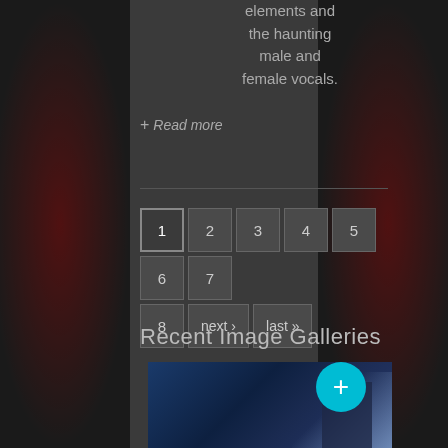elements and the haunting male and female vocals.
+ Read more
1 2 3 4 5 6 7 8 next › last »
Recent Image Galleries
[Figure (photo): Concert photo with spotlight and plus icon overlay]